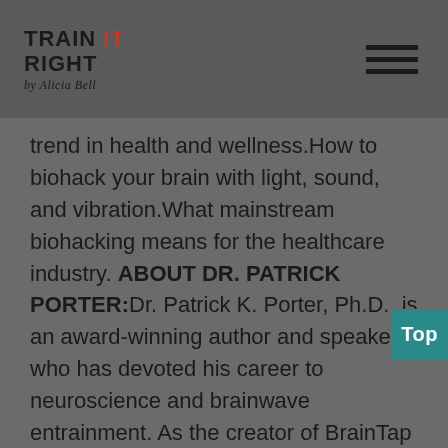TRAIN IT RIGHT by Alicia Bell
trend in health and wellness.How to biohack your brain with light, sound, and vibration.What mainstream biohacking means for the healthcare industry. ABOUT DR. PATRICK PORTER:Dr. Patrick K. Porter, Ph.D., is an award-winning author and speaker who has devoted his career to neuroscience and brainwave entrainment. As the creator of BrainTap Technology™, Porter has emerged as a leader in the digital health and wellness field. BrainTap's digital tools and mind development apps use Creative Visualization and Relaxation, a biohacking technique that has made tremendous advances in treating mental, physical, and emotional health issues. Braintan has been